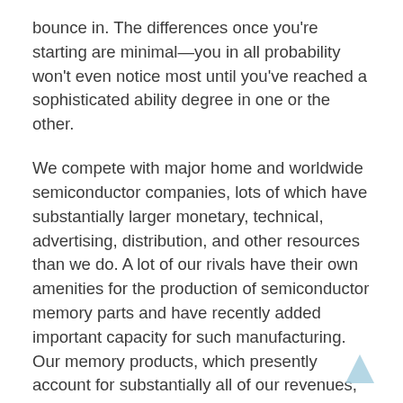bounce in. The differences once you're starting are minimal—you in all probability won't even notice most until you've reached a sophisticated ability degree in one or the other.
We compete with major home and worldwide semiconductor companies, lots of which have substantially larger monetary, technical, advertising, distribution, and other resources than we do. A lot of our rivals have their own amenities for the production of semiconductor memory parts and have recently added important capacity for such manufacturing. Our memory products, which presently account for substantially all of our revenues, compete principally in opposition to merchandise supplied by AMD, Atmel, Intel, Macronix, Sanyo, STMicroelectronics and Winbond. If we're successful in growing our high-density